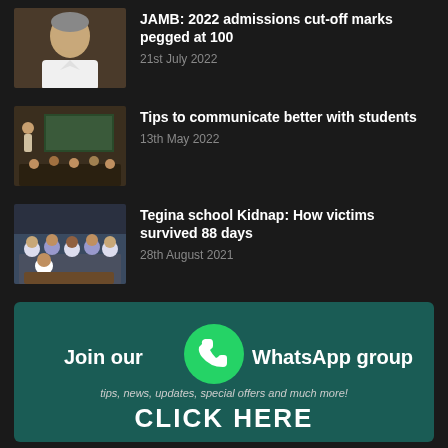JAMB: 2022 admissions cut-off marks pegged at 100
21st July 2022
[Figure (photo): Portrait photo of a man in white clothing]
Tips to communicate better with students
13th May 2022
[Figure (photo): Classroom scene with students and teacher at chalkboard]
Tegina school Kidnap: How victims survived 88 days
28th August 2021
[Figure (photo): Group of schoolgirls in blue and white uniforms seated]
[Figure (infographic): WhatsApp group join banner with green background, WhatsApp logo, text: Join our WhatsApp group, tips news updates special offers and much more!, CLICK HERE]